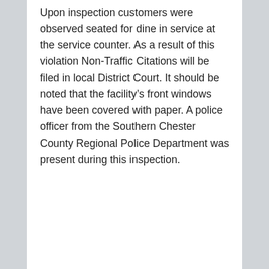Upon inspection customers were observed seated for dine in service at the service counter. As a result of this violation Non-Traffic Citations will be filed in local District Court. It should be noted that the facility’s front windows have been covered with paper. A police officer from the Southern Chester County Regional Police Department was present during this inspection.